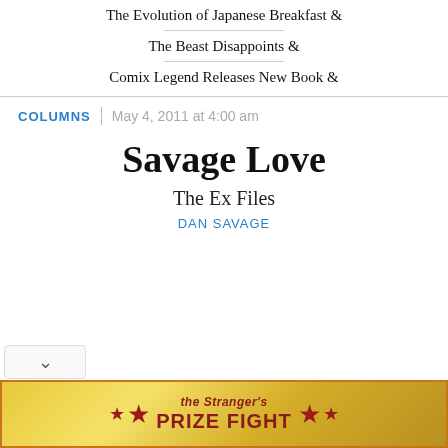The Evolution of Japanese Breakfast ☒
The Beast Disappoints ☒
Comix Legend Releases New Book ☒
COLUMNS | May 4, 2011 at 4:00 am
Savage Love
The Ex Files
DAN SAVAGE
[Figure (illustration): The Stranger's PRIZE FIGHT banner advertisement with gold background, red border, red stars on left and right, and bold red text reading theStranger's PRIZE FIGHT]